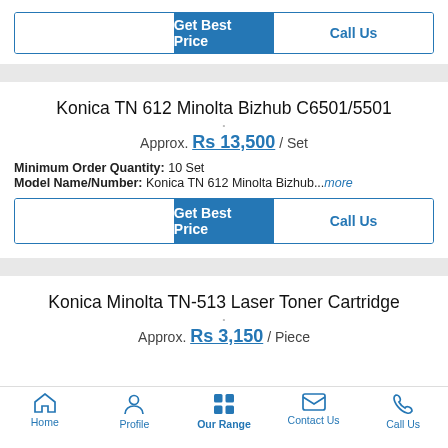[Figure (screenshot): Top portion of a Get Best Price / Call Us button row (partially visible at top)]
Konica TN 612 Minolta Bizhub C6501/5501
Approx. Rs 13,500 / Set
Minimum Order Quantity: 10 Set
Model Name/Number: Konica TN 612 Minolta Bizhub...more
[Figure (screenshot): Get Best Price / Call Us button row]
Konica Minolta TN-513 Laser Toner Cartridge
Approx. Rs 3,150 / Piece
Home | Profile | Our Range | Contact Us | Call Us